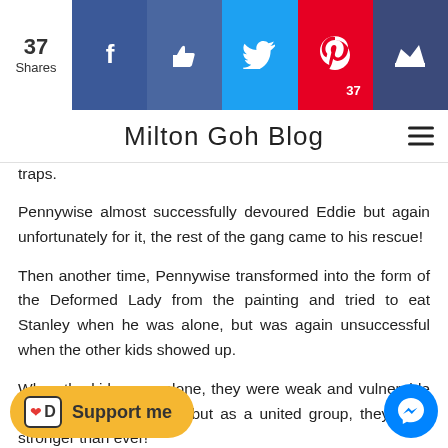37 Shares | Facebook | Like | Twitter | Pinterest 37 | Crown
Milton Goh Blog
traps.
Pennywise almost successfully devoured Eddie but again unfortunately for it, the rest of the gang came to his rescue!
Then another time, Pennywise transformed into the form of the Deformed Lady from the painting and tried to eat Stanley when he was alone, but was again unsuccessful when the other kids showed up.
When the kids were alone, they were weak and vulnerable to Pennywise's attacks, but as a united group, they were stronger than ever!